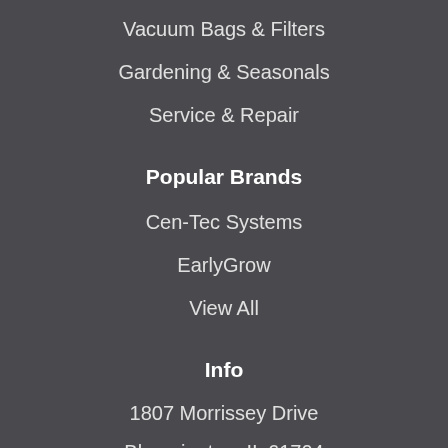Vacuum Bags & Filters
Gardening & Seasonals
Service & Repair
Popular Brands
Cen-Tec Systems
EarlyGrow
View All
Info
1807 Morrissey Drive
Bloomington, IL 61704
United States of America
Call us: 309-664-0328